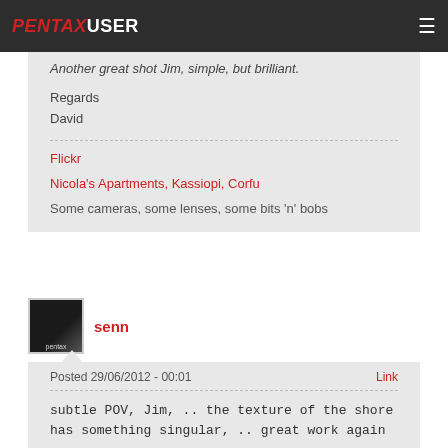PENTAXUSER
Another great shot Jim, simple, but brilliant.
Regards
David
Flickr
Nicola's Apartments, Kassiopi, Corfu
Some cameras, some lenses, some bits 'n' bobs
senn
Posted 29/06/2012 - 00:01
Link
subtle POV, Jim, .. the texture of the shore has something singular, .. great work again